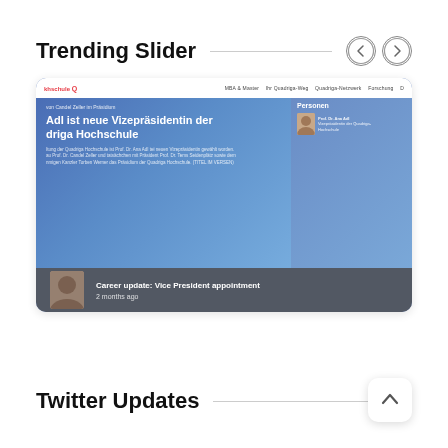Trending Slider
[Figure (screenshot): Screenshot of a university website (Quadriga Hochschule) showing a news article: 'AdI ist neue Vizepräsidentin der driga Hochschule' (Adl is the new Vice President of the Quadriga University). The card shows a blue hero image with text, a sidebar with 'Personen' heading and a person photo, and a bottom overlay bar reading 'Career update: Vice President appointment' and '2 months ago'.]
Twitter Updates